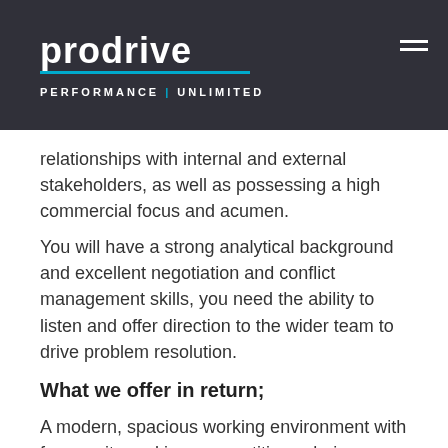Prodrive — PERFORMANCE | UNLIMITED
communicator. This is able to build credible and trusted relationships with internal and external stakeholders, as well as possessing a high commercial focus and acumen.
You will have a strong analytical background and excellent negotiation and conflict management skills, you need the ability to listen and offer direction to the wider team to drive problem resolution.
What we offer in return;
A modern, spacious working environment with free onsite parking, competitive salaries as well as a tailored range of benefits, which include: life assurance, free fitness assessments and advice from our 'Fit 4 Life team', a subsidised canteen, onsite exercise classes, opportunity to join our group personal pension, 25 days holiday, with an opportunity to purchase extra, and company discounts e.g. motorsport merchandise… and much more!